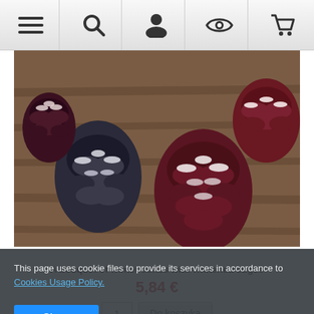[Figure (screenshot): Website navigation bar with icons: hamburger menu, search, user/account, eye/watchlist, shopping cart]
[Figure (photo): A bouquet of winter pine cones with whitened/snow-painted edges arranged on a wooden surface]
A bouquet of winter cones with whitened edges
5,84 €
1  Do koszyka
[Figure (photo): Second product image partially visible at the bottom, appears to be a winter/Christmas themed item on white background]
This page uses cookie files to provide its services in accordance to Cookies Usage Policy.
Close